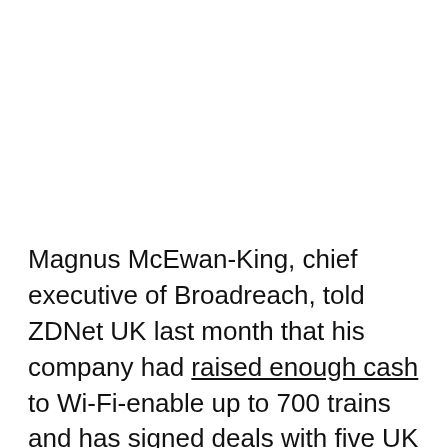Magnus McEwan-King, chief executive of Broadreach, told ZDNet UK last month that his company had raised enough cash to Wi-Fi-enable up to 700 trains and has signed deals with five UK train operators including Virgin.
Kingsland, though, says that GNER and Icomera are well ahead of their rivals.